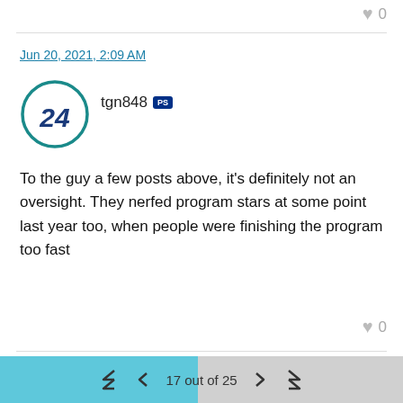0
Jun 20, 2021, 2:09 AM
[Figure (illustration): User avatar circle with number 24 in jersey font, teal border]
tgn848 [PlayStation icon]
To the guy a few posts above, it's definitely not an oversight. They nerfed program stars at some point last year too, when people were finishing the program too fast
0
Jun 20, 2021, 2:36 AM
[Figure (photo): User avatar photo of person with cap, partial view]
Thongypu [PlayStation icon]
17 out of 25